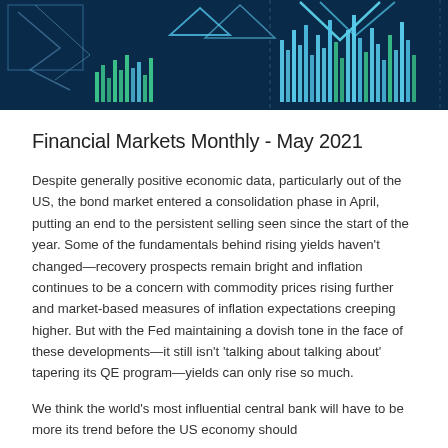[Figure (illustration): Dark blue banner header image with financial chart patterns, bar charts in teal/green and white geometric shapes on a dark navy background]
Financial Markets Monthly - May 2021
Despite generally positive economic data, particularly out of the US, the bond market entered a consolidation phase in April, putting an end to the persistent selling seen since the start of the year. Some of the fundamentals behind rising yields haven't changed—recovery prospects remain bright and inflation continues to be a concern with commodity prices rising further and market-based measures of inflation expectations creeping higher. But with the Fed maintaining a dovish tone in the face of these developments—it still isn't 'talking about talking about' tapering its QE program—yields can only rise so much.
We think the world's most influential central bank will have to be more its trend before the US economy should